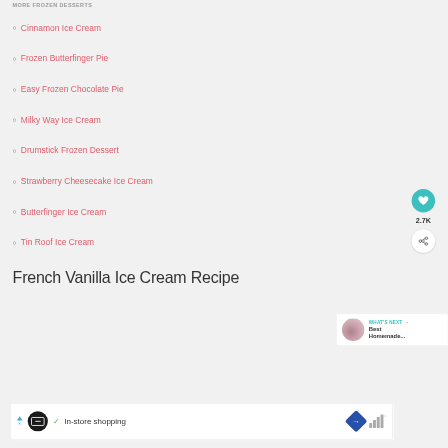MORE FROZEN DESSERTS
Cinnamon Ice Cream
Frozen Butterfinger Pie
Easy Frozen Chocolate Pie
Milky Way Ice Cream
Drumstick Frozen Dessert
Strawberry Cheesecake Ice Cream
Butterfinger Ice Cream
Tin Roof Ice Cream
French Vanilla Ice Cream Recipe
[Figure (infographic): Social sharing sidebar with heart button (teal), count 2.7K, and share button]
[Figure (infographic): What's Next panel showing thumbnail and text: Best Homemade...]
[Figure (infographic): Advertisement banner: In-store shopping ad with logo, checkmark, navigation icon, and bar graph icon]